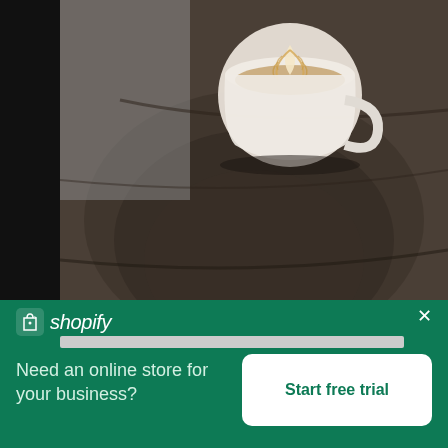[Figure (photo): Overhead view of a latte art coffee cup on a dark wooden table surface]
Latte Art
High resolution download ↓
[Figure (logo): Shopify logo with shopping bag icon and italic shopify text in white on green background]
Need an online store for your business?
Start free trial